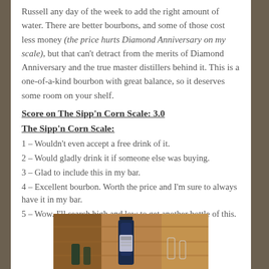Russell any day of the week to add the right amount of water.  There are better bourbons, and some of those cost less money (the price hurts Diamond Anniversary on my scale), but that can't detract from the merits of Diamond Anniversary and the true master distillers behind it.  This is a one-of-a-kind bourbon with great balance, so it deserves some room on your shelf.
Score on The Sipp'n Corn Scale:  3.0
The Sipp'n Corn Scale:
1 – Wouldn't even accept a free drink of it.
2 – Would gladly drink it if someone else was buying.
3 – Glad to include this in my bar.
4 – Excellent bourbon.  Worth the price and I'm sure to always have it in my bar.
5 – Wow.  I'll search high and low to get another bottle of this.
[Figure (photo): Photo of a bourbon bottle (Wild Russell or similar dark label) on a bar counter with glasses and bottles in the background]